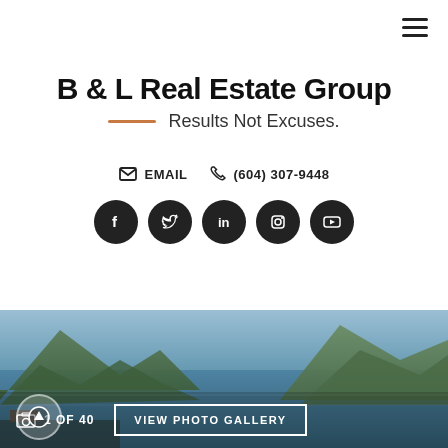B & L Real Estate Group
Results Not Excuses.
✉ EMAIL  ☎ (604) 307-9448
[Figure (illustration): Social media icons: Facebook, Twitter, LinkedIn, Instagram, YouTube — dark circular buttons]
[Figure (photo): Aerial/landscape photo of a coastal inlet with mountains, water, boats, and forest. Overlay shows '1 OF 40' and 'VIEW PHOTO GALLERY' button.]